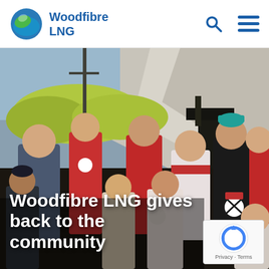Woodfibre LNG
[Figure (photo): Group photo of adults and children outdoors with rocky cliffs and trees in the background, some wearing Christmas-themed shirts]
Woodfibre LNG gives back to the community